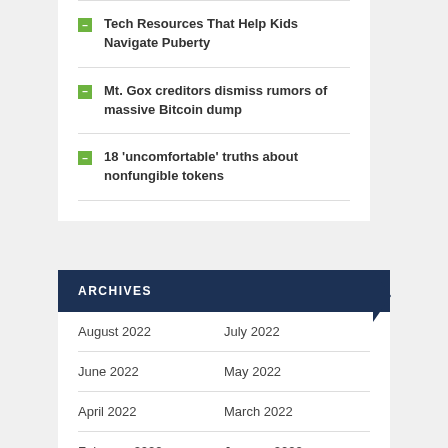Tech Resources That Help Kids Navigate Puberty
Mt. Gox creditors dismiss rumors of massive Bitcoin dump
18 'uncomfortable' truths about nonfungible tokens
ARCHIVES
August 2022	July 2022
June 2022	May 2022
April 2022	March 2022
February 2022	January 2022